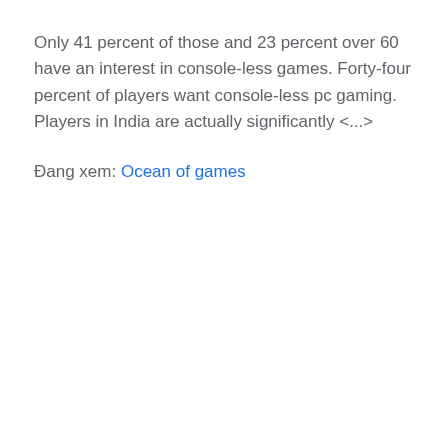Only 41 percent of those and 23 percent over 60 have an interest in console-less games. Forty-four percent of players want console-less pc gaming. Players in India are actually significantly <...>
Đang xem: Ocean of games